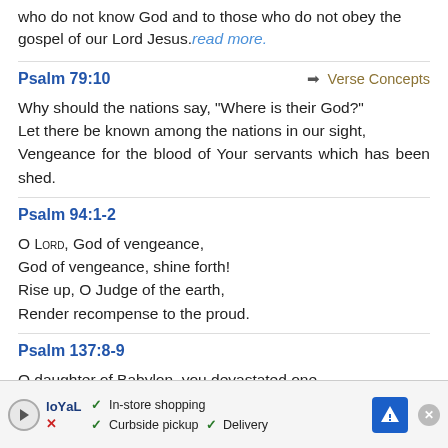who do not know God and to those who do not obey the gospel of our Lord Jesus. read more.
Psalm 79:10
Verse Concepts
Why should the nations say, “Where is their God?” Let there be known among the nations in our sight, Vengeance for the blood of Your servants which has been shed.
Psalm 94:1-2
O Lord, God of vengeance,
God of vengeance, shine forth!
Rise up, O Judge of the earth,
Render recompense to the proud.
Psalm 137:8-9
O daughter of Babylon, you devastated one,
How blessed will be the one who repays you